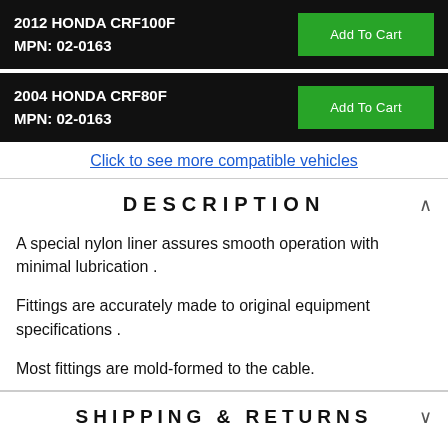| 2012 HONDA CRF100F
MPN: 02-0163 | Add To Cart |
| 2004 HONDA CRF80F
MPN: 02-0163 | Add To Cart |
Click to see more compatible vehicles
DESCRIPTION
A special nylon liner assures smooth operation with minimal lubrication .
Fittings are accurately made to original equipment specifications .
Most fittings are mold-formed to the cable.
SHIPPING & RETURNS